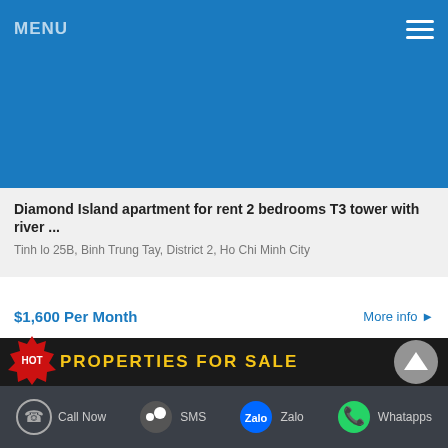MENU
[Figure (photo): Blue background image placeholder at top of listing]
Diamond Island apartment for rent 2 bedrooms T3 tower with river ...
Tinh lo 25B, Binh Trung Tay, District 2, Ho Chi Minh City
$1,600 Per Month
More info ▶
[Figure (photo): Blue background image placeholder at bottom of listing]
[Figure (infographic): HOT PROPERTIES FOR SALE banner with red HOT badge and scroll-up button]
Call Now   SMS   Zalo   Whatapps